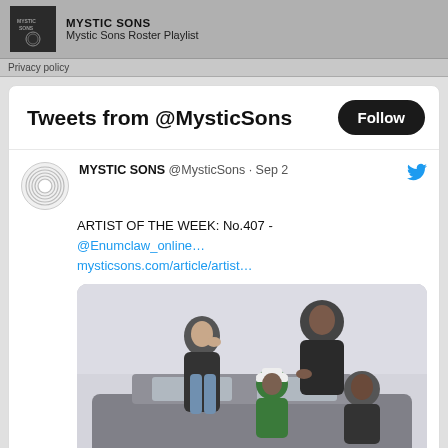MYSTIC SONS
Mystic Sons Roster Playlist
Privacy policy
Tweets from @MysticSons
MYSTIC SONS @MysticSons · Sep 2
ARTIST OF THE WEEK: No.407 - @Enumclaw_online...
mysticsons.com/article/artist…
[Figure (photo): Group of people posing on or near a car, blurred photo background]
Comment and like action icons